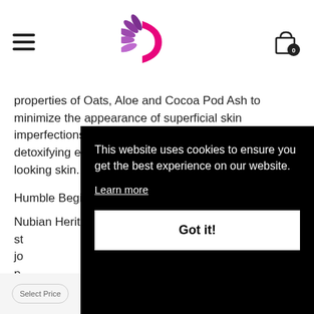[Figure (logo): Nubian Heritage logo: purple/magenta stylized leaf and swoosh mark, centered in header]
properties of Oats, Aloe and Cocoa Pod Ash to minimize the appearance of superficial skin imperfections. Our deep cleansing formula provides detoxifying exfoliation to reveal radiantly healthy-looking skin.
Humble Beginnings
Nubian Heritage is the brainchild of two New York st... jo... pr... Af... N... p... p...
This website uses cookies to ensure you get the best experience on our website.
Learn more
Got it!